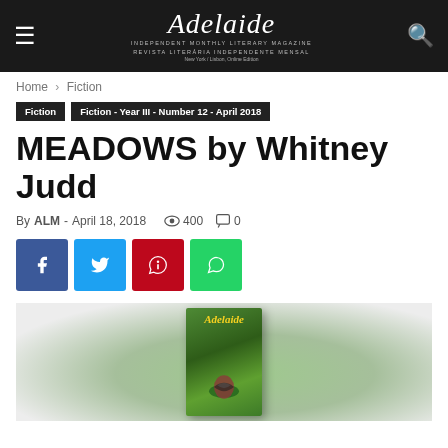Adelaide — INDEPENDENT MONTHLY LITERARY MAGAZINE / REVISTA LITERÁRIA INDEPENDENTE MENSAL — New York / Lisbon, Online Edition
Home › Fiction
Fiction | Fiction - Year III - Number 12 - April 2018
MEADOWS by Whitney Judd
By ALM - April 18, 2018  👁 400  💬 0
[Figure (illustration): Four social media share buttons: Facebook (blue), Twitter (light blue), Pinterest (red), WhatsApp (green)]
[Figure (photo): Adelaide literary magazine cover showing a butterfly on green foliage, with the Adelaide logo in italic script and yellow text]